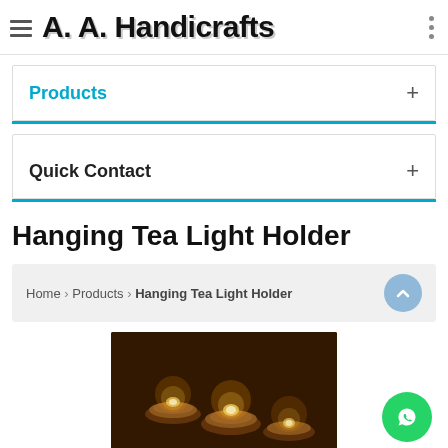A. A. Handicrafts
Products
Quick Contact
Hanging Tea Light Holder
Home › Products › Hanging Tea Light Holder
[Figure (photo): Photo of hanging tea light holders with warm glowing candles on a dark wooden background]